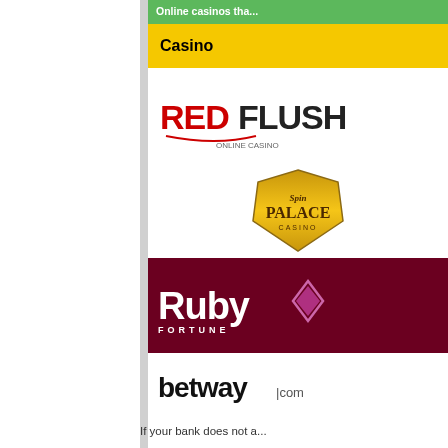Online casinos tha...
| Casino |
| --- |
| Red Flush |
| Spin Palace Casino |
| Ruby Fortune |
| betway.com |
| Flamantis Gold |
If your bank does not a...